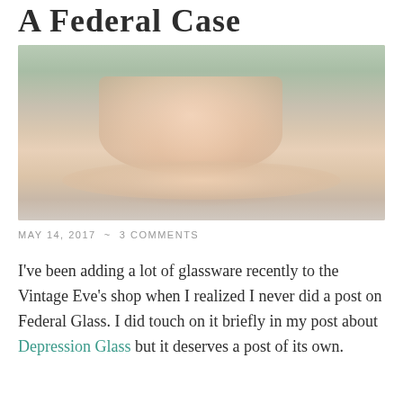A Federal Case
[Figure (photo): A pink depression glass teacup with floral pattern sitting on a matching saucer, photographed outdoors on a white surface with green foliage in the background.]
MAY 14, 2017  ~  3 COMMENTS
I've been adding a lot of glassware recently to the Vintage Eve's shop when I realized I never did a post on Federal Glass. I did touch on it briefly in my post about Depression Glass but it deserves a post of its own.